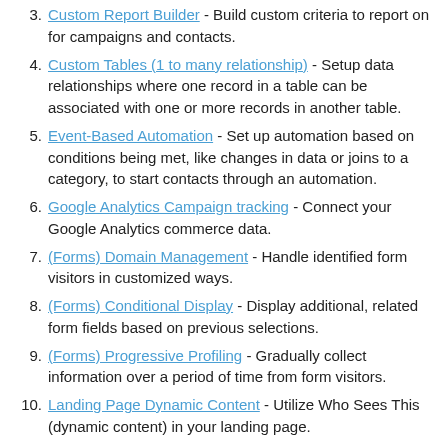3. Custom Report Builder - Build custom criteria to report on for campaigns and contacts.
4. Custom Tables (1 to many relationship) - Setup data relationships where one record in a table can be associated with one or more records in another table.
5. Event-Based Automation - Set up automation based on conditions being met, like changes in data or joins to a category, to start contacts through an automation.
6. Google Analytics Campaign tracking - Connect your Google Analytics commerce data.
7. (Forms) Domain Management - Handle identified form visitors in customized ways.
8. (Forms) Conditional Display - Display additional, related form fields based on previous selections.
9. (Forms) Progressive Profiling - Gradually collect information over a period of time from form visitors.
10. Landing Page Dynamic Content - Utilize Who Sees This (dynamic content) in your landing page.
11. Lead Scoring (Basic) - (B2B) Identify and prioritize...